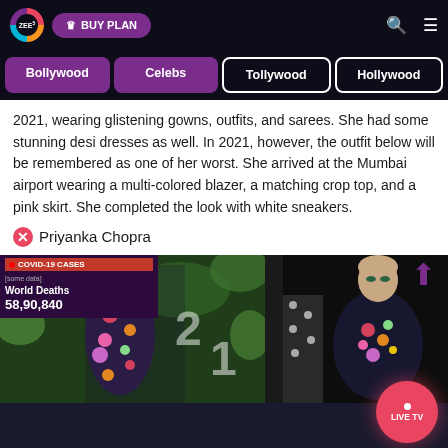ZEE5 | BUY PLAN
Bollywood
Celebs
Tollywood
Hollywood
2021, wearing glistening gowns, outfits, and sarees. She had some stunning desi dresses as well. In 2021, however, the outfit below will be remembered as one of her worst. She arrived at the Mumbai airport wearing a multi-colored blazer, a matching crop top, and a pink skirt. She completed the look with white sneakers.
Priyanka Chopra
[Figure (photo): Two photos side by side: left shows Priyanka Chopra in a floral multi-colored gown/blazer outfit; right shows another celebrity in a floral strapless outfit. A COVID-19 cases overlay shows World Deaths 58,90,840.]